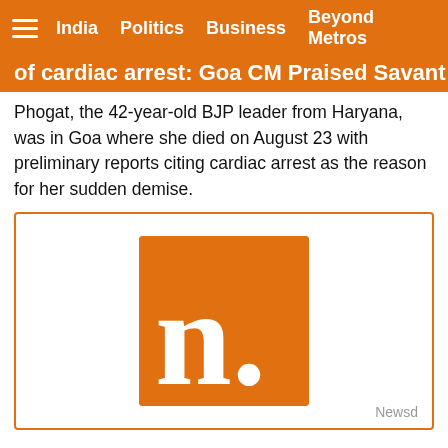India  Politics  Business  Beyond Metros
of cardiac arrest: Goa CM Praised Savant
Phogat, the 42-year-old BJP leader from Haryana, was in Goa where she died on August 23 with preliminary reports citing cardiac arrest as the reason for her sudden demise.
[Figure (logo): Newsd logo: orange square with white letter 'n.' inside, with 'Newsd' text below right]
PM Modi to address `Har Ghar Jal Utsav' in Goa virtually